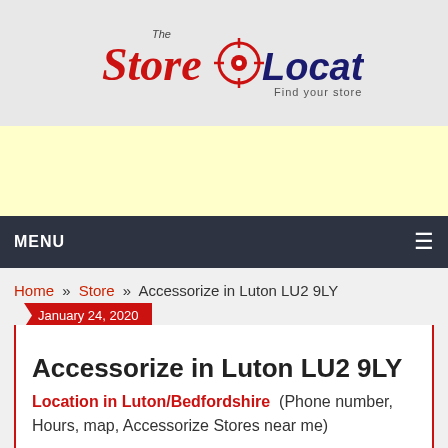[Figure (logo): The Store Locator logo — red script 'Store', navy bold 'Locator', crosshair target icon, tagline 'Find your store']
[Figure (other): Yellow advertisement banner]
MENU
Home » Store » Accessorize in Luton LU2 9LY
January 24, 2020
Accessorize in Luton LU2 9LY
Location in Luton/Bedfordshire (Phone number, Hours, map, Accessorize Stores near me)